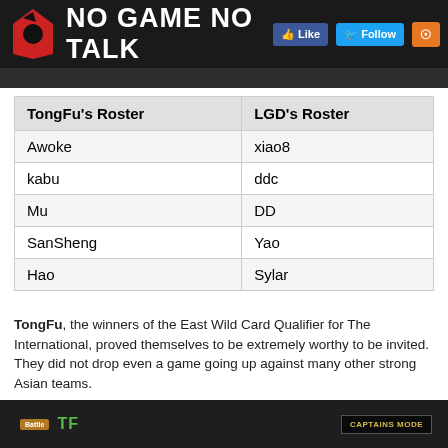NO GAME NO TALK
| TongFu's Roster | LGD's Roster |
| --- | --- |
| Awoke | xiao8 |
| kabu | ddc |
| Mu | DD |
| SanSheng | Yao |
| Hao | Sylar |
TongFu, the winners of the East Wild Card Qualifier for The International, proved themselves to be extremely worthy to be invited. They did not drop even a game going up against many other strong Asian teams.
LGD has been extremely successful, having its peak era back in 2009 and reshuffled its roster, but with the addition of Sylar, they have since been...
Game 1:
[Figure (screenshot): In-game screenshot showing Captains Mode screen with TF team indicator]